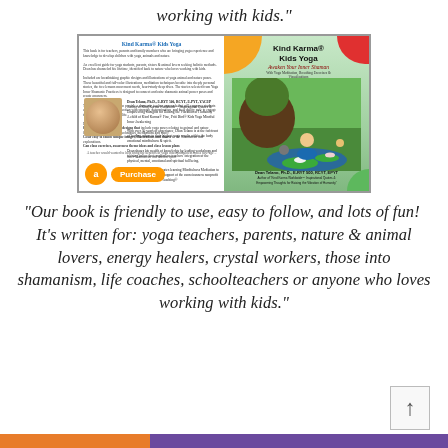working with kids."
[Figure (photo): Book cover of 'Kind Karma Kids Yoga: Awaken Your Inner Shaman' showing front and back cover with Amazon purchase button]
"Our book is friendly to use, easy to follow, and lots of fun!  It's written for: yoga teachers, parents, nature & animal lovers, energy healers, crystal workers, those into shamanism, life coaches, schoolteachers or anyone who loves working with kids."